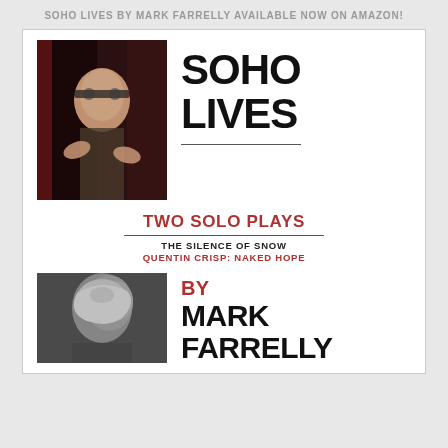SOHO LIVES BY MARK FARRELLY AVAILABLE NOW ON AMAZON!
[Figure (photo): Black and white photo of a man with glasses gesturing with his hands against a dark background with a red curtain]
SOHO LIVES
TWO SOLO PLAYS
THE SILENCE OF SNOW
QUENTIN CRISP: NAKED HOPE
[Figure (photo): Black and white profile photo of a person looking upward]
BY
MARK
FARRELLY